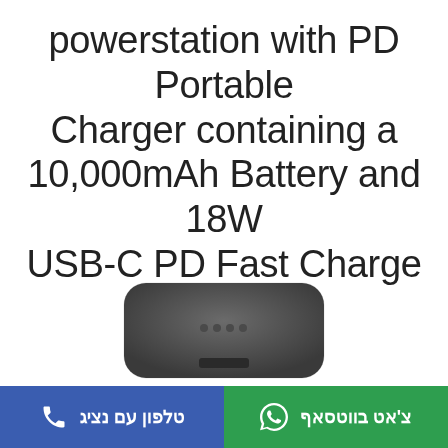powerstation with PD Portable Charger containing a 10,000mAh Battery and 18W USB-C PD Fast Charge Black mophie
[Figure (photo): Bottom portion of a dark grey mophie powerstation portable charger device]
טלפון עם נציג  |  צ'אט בווטסאף